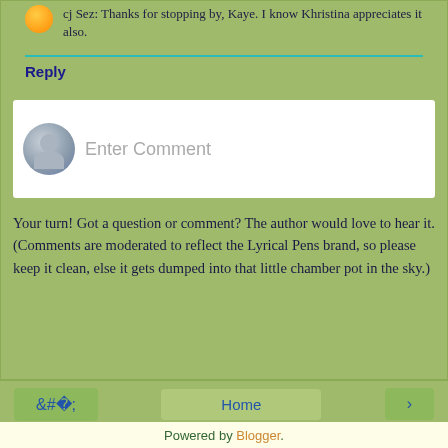cj Sez: Thanks for stopping by, Kaye. I know Khristina appreciates it also.
Reply
[Figure (screenshot): Comment input box with avatar placeholder and 'Enter Comment' placeholder text]
Your turn! Got a question or comment? The author would love to hear it. (Comments are moderated to reflect the Lyrical Pens brand, so please keep it clean, else it gets dumped into that little chamber pot in the sky.)
Home
View web version
Powered by Blogger.